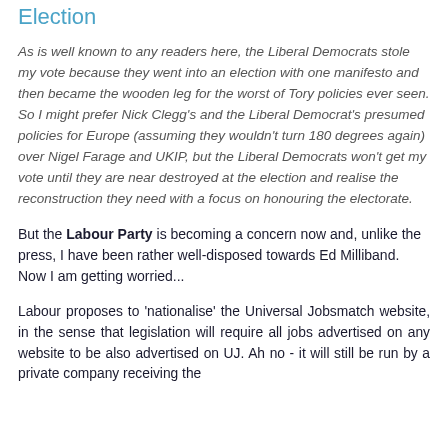Election
As is well known to any readers here, the Liberal Democrats stole my vote because they went into an election with one manifesto and then became the wooden leg for the worst of Tory policies ever seen. So I might prefer Nick Clegg's and the Liberal Democrat's presumed policies for Europe (assuming they wouldn't turn 180 degrees again) over Nigel Farage and UKIP, but the Liberal Democrats won't get my vote until they are near destroyed at the election and realise the reconstruction they need with a focus on honouring the electorate.
But the Labour Party is becoming a concern now and, unlike the press, I have been rather well-disposed towards Ed Milliband. Now I am getting worried...
Labour proposes to 'nationalise' the Universal Jobsmatch website, in the sense that legislation will require all jobs advertised on any website to be also advertised on UJ. Ah no - it will still be run by a private company receiving the